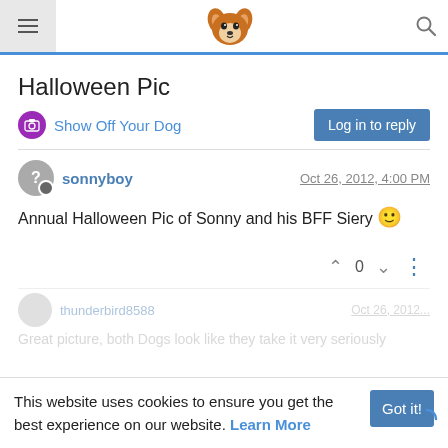Header with hamburger menu, corgi logo, and search icon
Halloween Pic
Show Off Your Dog
Log in to reply
sonnyboy — Oct 26, 2012, 4:00 PM
Annual Halloween Pic of Sonny and his BFF Siery 🙂
0
thunderbird8588 — Oct 26, 2012
Great picture, both Dogs look like they take it very seriously
This website uses cookies to ensure you get the best experience on our website. Learn More
Got it!